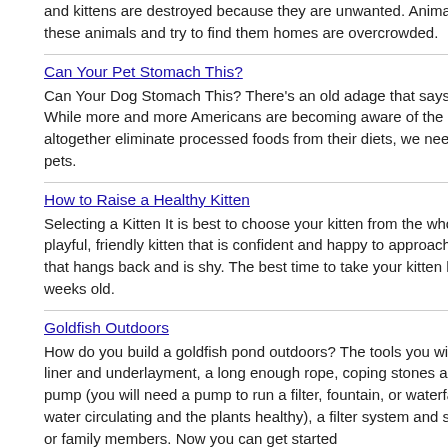and kittens are destroyed because they are unwanted. Animal shelters that take in these animals and try to find them homes are overcrowded.
Can Your Pet Stomach This?
Can Your Dog Stomach This? There's an old adage that says "You are what you eat". While more and more Americans are becoming aware of the need to reduce or altogether eliminate processed foods from their diets, we need to do the same for our pets.
How to Raise a Healthy Kitten
Selecting a Kitten It is best to choose your kitten from the whole litter, choose the frisky playful, friendly kitten that is confident and happy to approach you rather than the one that hangs back and is shy. The best time to take your kitten home is between 7 and 8 weeks old.
Goldfish Outdoors
How do you build a goldfish pond outdoors? The tools you will need are a shovel, pond liner and underlayment, a long enough rope, coping stones and decorations, plants, a pump (you will need a pump to run a filter, fountain, or waterfall and it will keep the water circulating and the plants healthy), a filter system and some cooperative friends or family members. Now you can get started...